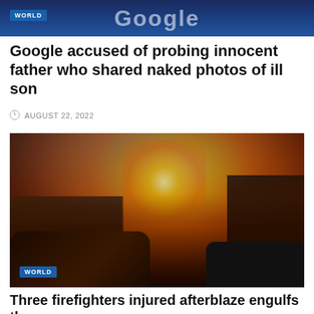[Figure (screenshot): Dark blue banner with Google logo text and WORLD badge]
Google accused of probing innocent father who shared naked photos of ill son
AUGUST 22, 2022
[Figure (photo): Night scene of a building fire with large flames and smoke, cars in foreground, WORLD badge visible]
Three firefighters injured afterblaze engulfs three